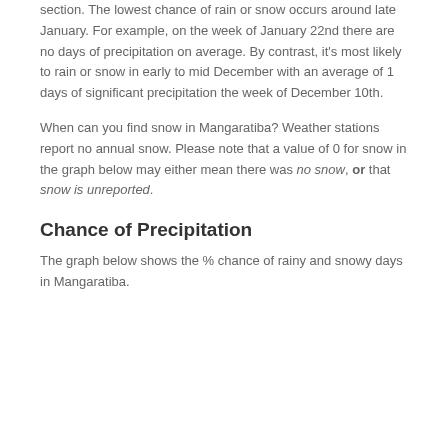section. The lowest chance of rain or snow occurs around late January. For example, on the week of January 22nd there are no days of precipitation on average. By contrast, it's most likely to rain or snow in early to mid December with an average of 1 days of significant precipitation the week of December 10th.
When can you find snow in Mangaratiba? Weather stations report no annual snow. Please note that a value of 0 for snow in the graph below may either mean there was no snow, or that snow is unreported.
Chance of Precipitation
The graph below shows the % chance of rainy and snowy days in Mangaratiba.